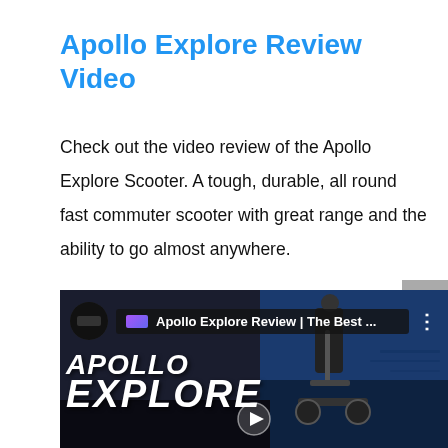Apollo Explore Review Video
Check out the video review of the Apollo Explore Scooter. A tough, durable, all round fast commuter scooter with great range and the ability to go almost anywhere.
[Figure (screenshot): YouTube video thumbnail showing Apollo Explore electric scooter review video. Channel icon, video title 'Apollo Explore Review | The Best ...', three-dot menu, large 'APOLLO EXPLORE' text overlay on dark background with a person standing with the scooter.]